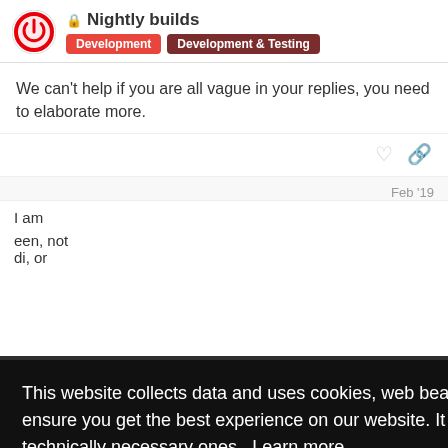Nightly builds — Development, Development & Testing
We can't help if you are all vague in your replies, you need to elaborate more.
Feb '19
I am
een, not di, or
[Figure (screenshot): Cookie consent popup with black background. Text: 'This website collects data and uses cookies, web beacons, JavaScript and similar technologies to ensure you get the best experience on our website. It doesn't use any 3rd party cookies but only technically necessary ones. Learn more'. Yellow 'Got it!' button below.]
crazyturk
503